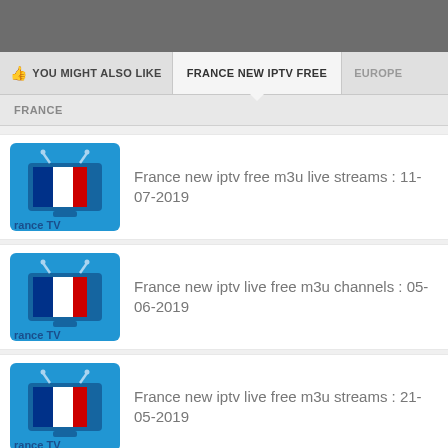YOU MIGHT ALSO LIKE | FRANCE NEW IPTV FREE | EUROPE
FRANCE
France new iptv free m3u live streams : 11-07-2019
France new iptv live free m3u channels : 05-06-2019
France new iptv live free m3u streams : 21-05-2019
France new iptv free today m3u servers : 02-05-2019